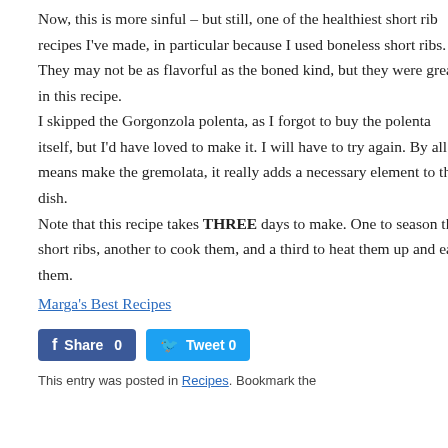Now, this is more sinful – but still, one of the healthiest short rib recipes I've made, in particular because I used boneless short ribs. They may not be as flavorful as the boned kind, but they were great in this recipe.
I skipped the Gorgonzola polenta, as I forgot to buy the polenta itself, but I'd have loved to make it. I will have to try again. By all means make the gremolata, it really adds a necessary element to the dish.
Note that this recipe takes THREE days to make. One to season the short ribs, another to cook them, and a third to heat them up and eat them.
Marga's Best Recipes
[Figure (other): Facebook Share button (count: 0) and Twitter Tweet button (count: 0)]
This entry was posted in Recipes. Bookmark the
Diane on Meal Kit Review: HelloFresh' Crispy Parmesan Chicken with Garlic Herb Couscous and Lemony Roasted Carrots + Recipe
ameedah on You get what you pay for: Beef Tenderloin at Grocery Outlet
Bun on Blakey's Original Firefighters BBQ Sauce – Review
azzurra on Online scam against restaurant owners
Mohamed Ali hersi on Battle of the Snacks Day 4: Ulker Alpella 3D White Chocolate v. Coris Whistle Soda